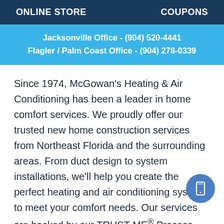ONLINE STORE    COUPONS
Jacksonville Office - (904) 520-4441
Flagler / Palm Coast Office - (904) 278-0339
Since 1974, McGowan's Heating & Air Conditioning has been a leader in home comfort services. We proudly offer our trusted new home construction services from Northeast Florida and the surrounding areas. From duct design to system installations, we'll help you create the perfect heating and air conditioning system to meet your comfort needs. Our services are backed by our TRUST ME® Process, giving you a 100% Assurance Guarantee with each of our